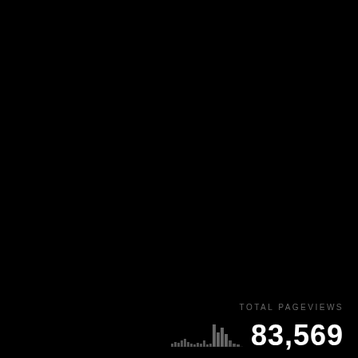TOTAL PAGEVIEWS
[Figure (continuous-plot): Small sparkline/histogram chart showing pageview activity over time. Dark gray bars on black background. Multiple small peaks visible with one larger peak toward the right side.]
83,569